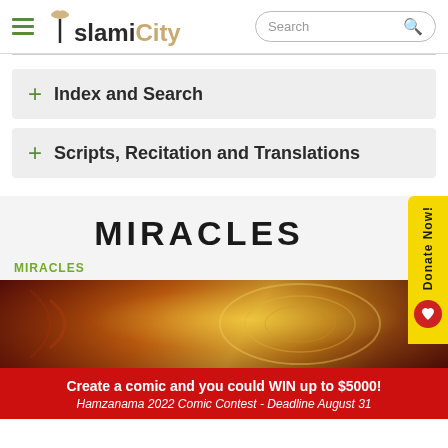IslamiCity
+ Index and Search
+ Scripts, Recitation and Translations
MIRACLES
MIRACLES
[Figure (photo): Close-up of ornate golden Islamic decorative art/Quran cover]
Donate Now!
Create a comic and you could WIN up to $5000!
Hamzanama 2022 Comic Contest - Deadline August 31